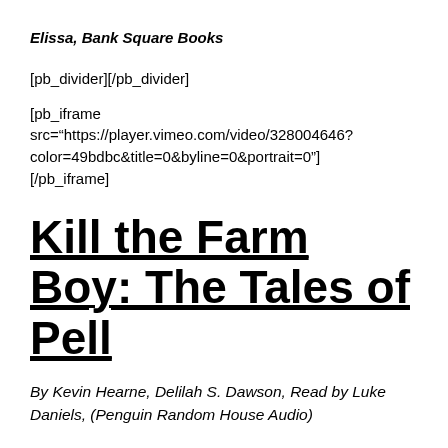Elissa, Bank Square Books
[pb_divider][/pb_divider]
[pb_iframe src="https://player.vimeo.com/video/328004646?color=49bdbc&title=0&byline=0&portrait=0"][/pb_iframe]
Kill the Farm Boy: The Tales of Pell
By Kevin Hearne, Delilah S. Dawson, Read by Luke Daniels, (Penguin Random House Audio)